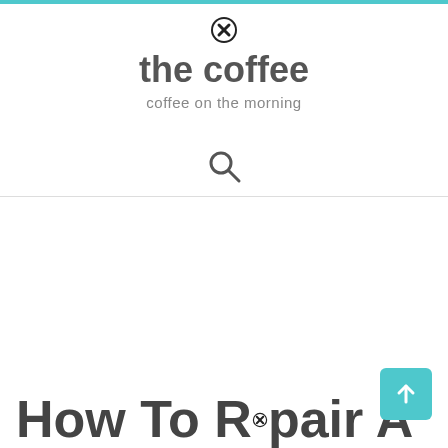the coffee — coffee on the morning
[Figure (illustration): Search icon (magnifying glass)]
How To Repair A